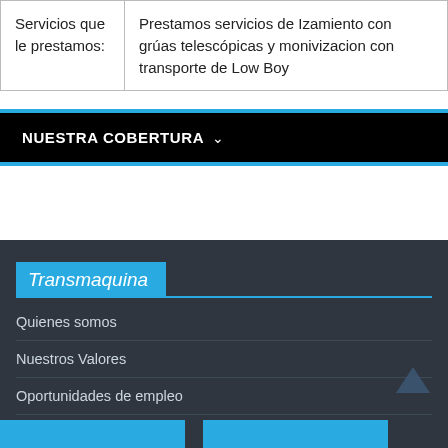| Servicios que le prestamos: | Prestamos servicios de Izamiento con grúas telescópicas y monivizacion con transporte de Low Boy |
NUESTRA COBERTURA ∨
Transmaquina
Quienes somos
Nuestros Valores
Oportunidades de empleo